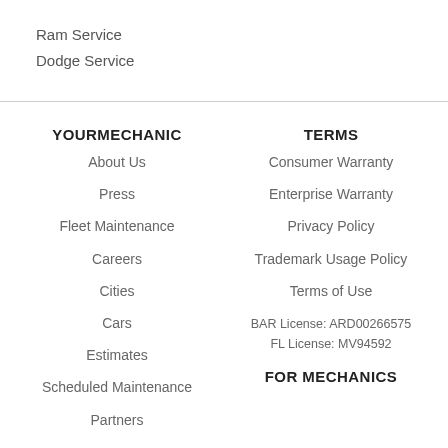Ram Service
Dodge Service
YOURMECHANIC
About Us
Press
Fleet Maintenance
Careers
Cities
Cars
Estimates
Scheduled Maintenance
Partners
TERMS
Consumer Warranty
Enterprise Warranty
Privacy Policy
Trademark Usage Policy
Terms of Use
BAR License: ARD00266575
FL License: MV94592
FOR MECHANICS